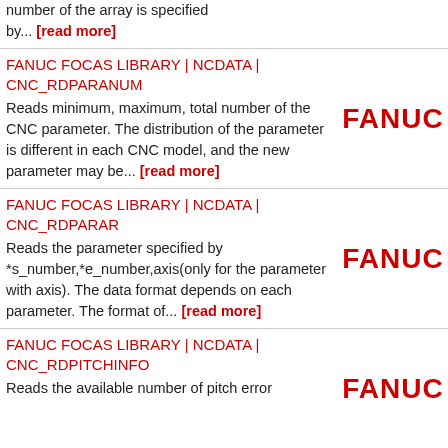number of the array is specified by... [read more]
FANUC FOCAS LIBRARY | NCDATA | CNC_RDPARANUM
Reads minimum, maximum, total number of the CNC parameter. The distribution of the parameter is different in each CNC model, and the new parameter may be... [read more]
[Figure (logo): FANUC logo in red bold text]
FANUC FOCAS LIBRARY | NCDATA | CNC_RDPARAR
Reads the parameter specified by *s_number,*e_number,axis(only for the parameter with axis). The data format depends on each parameter. The format of... [read more]
[Figure (logo): FANUC logo in red bold text]
FANUC FOCAS LIBRARY | NCDATA | CNC_RDPITCHINFO
Reads the available number of pitch error
[Figure (logo): FANUC logo in red bold text (partially visible)]